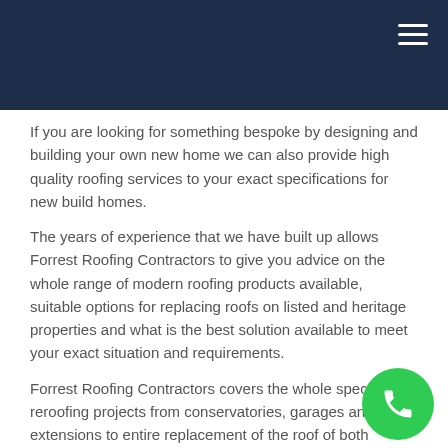If you are looking for something bespoke by designing and building your own new home we can also provide high quality roofing services to your exact specifications for new build homes.
The years of experience that we have built up allows Forrest Roofing Contractors to give you advice on the whole range of modern roofing products available, suitable options for replacing roofs on listed and heritage properties and what is the best solution available to meet your exact situation and requirements.
Forrest Roofing Contractors covers the whole spectrum of reroofing projects from conservatories, garages and home extensions to entire replacement of the roof of both domestic and commercial properties – big or small we handle them all.